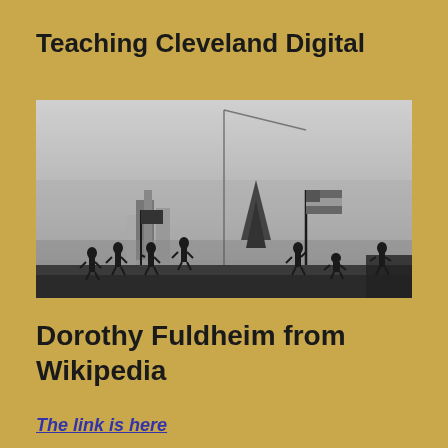Teaching Cleveland Digital
[Figure (photo): Black and white photograph of workers standing on a high-rise construction beam overlooking a city skyline. Several workers hold flags including an American flag. The city spreads out far below them.]
Dorothy Fuldheim from Wikipedia
The link is here